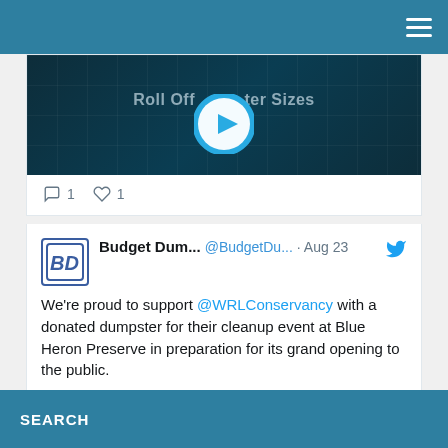Navigation bar with hamburger menu
[Figure (screenshot): Video thumbnail showing 'Roll Off Dumpster Sizes' with play button overlay on dark teal background with grid pattern]
1 reply, 1 like
Budget Dum... @BudgetDu... · Aug 23
We're proud to support @WRLConservancy with a donated dumpster for their cleanup event at Blue Heron Preserve in preparation for its grand opening to the public.

The property is a former sand and gravel mine
SEARCH